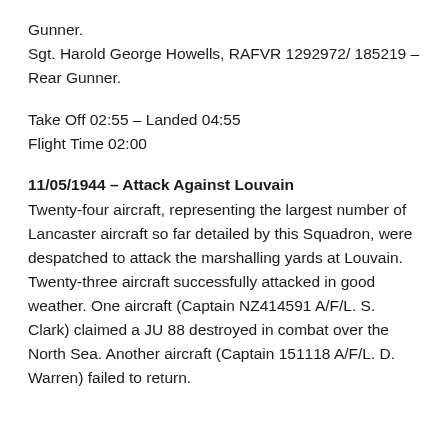Gunner.
Sgt. Harold George Howells, RAFVR 1292972/ 185219 – Rear Gunner.
Take Off 02:55 – Landed 04:55
Flight Time 02:00
11/05/1944 – Attack Against Louvain
Twenty-four aircraft, representing the largest number of Lancaster aircraft so far detailed by this Squadron, were despatched to attack the marshalling yards at Louvain. Twenty-three aircraft successfully attacked in good weather. One aircraft (Captain NZ414591 A/F/L. S. Clark) claimed a JU 88 destroyed in combat over the North Sea. Another aircraft (Captain 151118 A/F/L. D. Warren) failed to return.